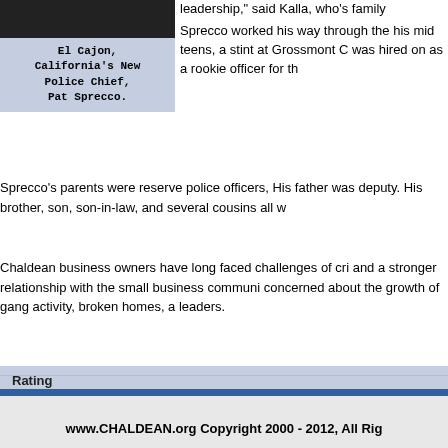[Figure (photo): Photo of Pat Sprecco, El Cajon California's New Police Chief]
El Cajon, California's New Police Chief, Pat Sprecco.
leadership," said Kalla, who's family
Sprecco worked his way through the his mid teens, a stint at Grossmont C was hired on as a rookie officer for th
Sprecco's parents were reserve police officers, His father was deputy. His brother, son, son-in-law, and several cousins all w
Chaldean business owners have long faced challenges of cri and a stronger relationship with the small business communi concerned about the growth of gang activity, broken homes, a leaders.
Rating
○1 ○2 ○3 ○4 ○5
www.CHALDEAN.org Copyright 2000 - 2012, All Rig